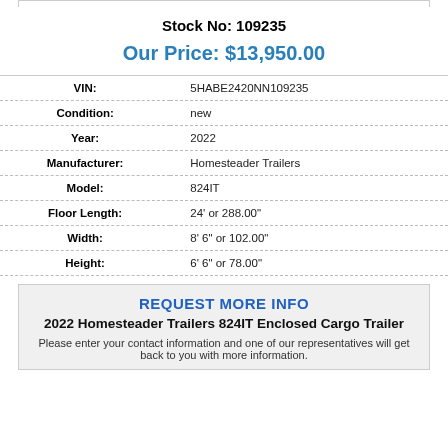Stock No: 109235
Our Price: $13,950.00
| Field | Value |
| --- | --- |
| VIN: | 5HABE2420NN109235 |
| Condition: | new |
| Year: | 2022 |
| Manufacturer: | Homesteader Trailers |
| Model: | 824IT |
| Floor Length: | 24' or 288.00" |
| Width: | 8' 6" or 102.00" |
| Height: | 6' 6" or 78.00" |
REQUEST MORE INFO
2022 Homesteader Trailers 824IT Enclosed Cargo Trailer
Please enter your contact information and one of our representatives will get back to you with more information.